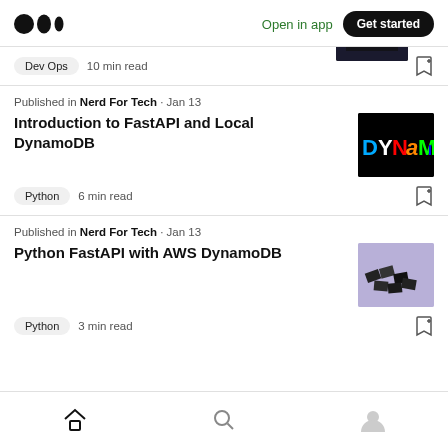Medium logo | Open in app | Get started
Dev Ops  10 min read
Published in Nerd For Tech · Jan 13
Introduction to FastAPI and Local DynamoDB
Python  6 min read
Published in Nerd For Tech · Jan 13
Python FastAPI with AWS DynamoDB
Python  3 min read
Home | Search | Profile